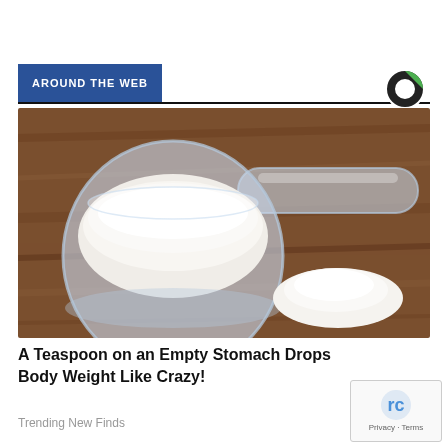[Figure (screenshot): Blue 'Post Comment' button]
AROUND THE WEB
[Figure (photo): A plastic measuring scoop filled with white powder (protein powder or similar) sitting on a wooden surface, with a small pile of the white powder next to it]
A Teaspoon on an Empty Stomach Drops Body Weight Like Crazy!
Trending New Finds